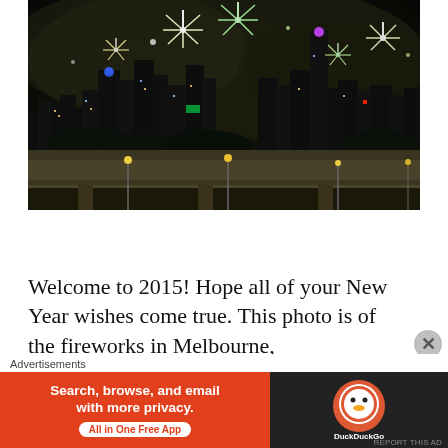[Figure (photo): Night photo of Melbourne city skyline with fireworks bursting above the skyscrapers, with a highway overpass in the foreground and city lights reflecting below. New Year's Eve fireworks display.]
Welcome to 2015! Hope all of your New Year wishes come true. This photo is of the fireworks in Melbourne,
[Figure (screenshot): Advertisement banner for DuckDuckGo: orange left panel reading 'Search, browse, and email with more privacy. All in One Free App' with a white pill button, and dark right panel with DuckDuckGo logo and duck icon.]